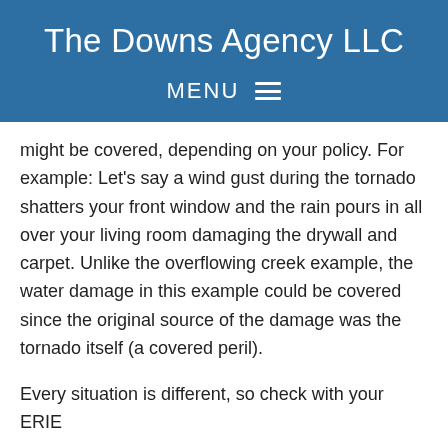The Downs Agency LLC
MENU ☰
might be covered, depending on your policy. For example: Let's say a wind gust during the tornado shatters your front window and the rain pours in all over your living room damaging the drywall and carpet. Unlike the overflowing creek example, the water damage in this example could be covered since the original source of the damage was the tornado itself (a covered peril).
Every situation is different, so check with your ERIE